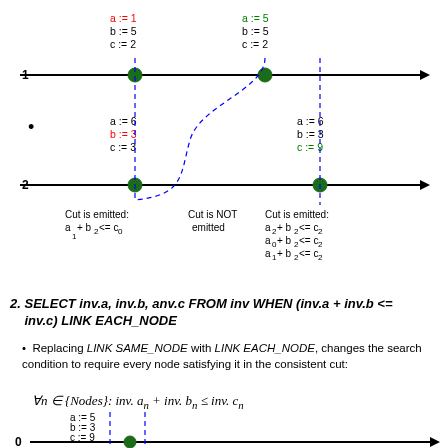[Figure (engineering-diagram): Two timeline diagrams (rows 1 and 2) with nodes marked as green dots on horizontal arrows. Vertical dashed blue lines indicate consistent cuts. Annotations show variable assignments (a, b, c values) colored red or green for changed values. Labels indicate 'Cut is emitted' or 'Cut is NOT emitted' with conditions using subscript notation.]
2. SELECT inv.a, inv.b, anv.c FROM inv WHEN (inv.a + inv.b <= inv.c) LINK EACH_NODE
Replacing LINK SAME_NODE with LINK EACH_NODE, changes the search condition to require every node satisfying it in the consistent cut:
[Figure (engineering-diagram): Bottom timeline diagram (row 0) with a single node and vertical dashed blue lines, showing variable assignments a:=5, b:=3, c:=9.]